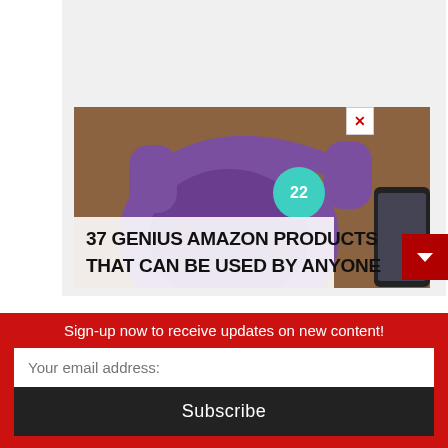[Figure (illustration): Advertisement image showing purple headphones on a wooden surface with a teal circular badge reading '22', overlaid with bold text: '37 GENIUS AMAZON PRODUCTS THAT CAN BE USED BY ANYONE', with a close X button in the top-right corner]
Sign-up now to receive updates on new content!
Your email address:
Subscribe